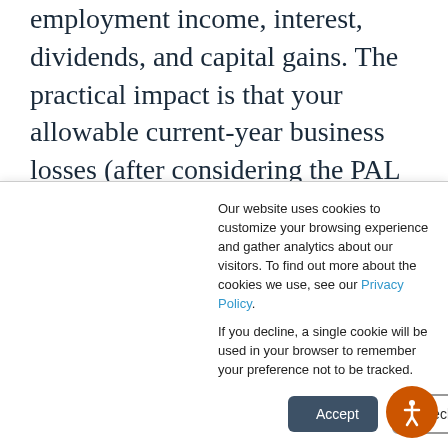employment income, interest, dividends, and capital gains. The practical impact is that your allowable current-year business losses (after considering the PAL rules) cannot offset more than $250,000 of income from such other sources or more than $500,000 for married joint-filers.
The requirement that an excess business loss must be carried forward as an NOL forces you to wait at least
Our website uses cookies to customize your browsing experience and gather analytics about our visitors. To find out more about the cookies we use, see our Privacy Policy.

If you decline, a single cookie will be used in your browser to remember your preference not to be tracked.